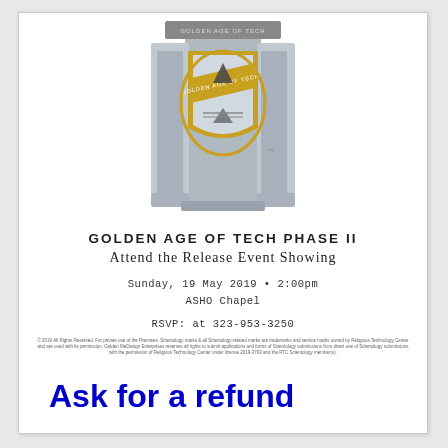[Figure (logo): Golden Age of Tech Phase II shield/crest logo — metallic silver and gold emblem with triangular arrow icon and text 'GOLDEN AGE OF TECH' at top]
GOLDEN AGE OF TECH PHASE II
Attend the Release Event Showing
Sunday, 19 May 2019 • 2:00pm
ASHO Chapel
RSVP: at 323-953-3250
© 2019 All Rights Reserved. For private use of the Premises. Scientology marks & all Scientology-related marks are trademarks and service marks owned by Religious Technology Center and are used with its permission. Golden MeDesign Enterprises reserves all rights to submit applications and forms of Scientology submissions from direct use of Scientology submissions with the permission of Religious Technology Center under license 2019-3793 and the RTC Scientology member(s).
Ask for a refund